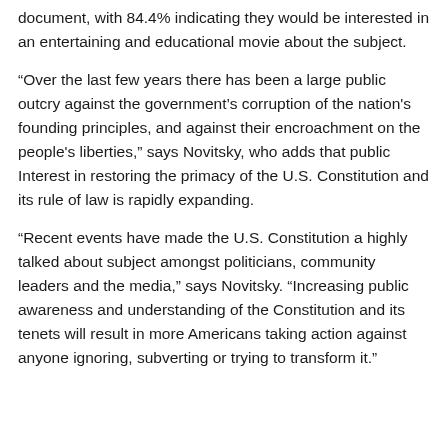document, with 84.4% indicating they would be interested in an entertaining and educational movie about the subject.
“Over the last few years there has been a large public outcry against the government’s corruption of the nation's founding principles, and against their encroachment on the people's liberties,” says Novitsky, who adds that public Interest in restoring the primacy of the U.S. Constitution and its rule of law is rapidly expanding.
“Recent events have made the U.S. Constitution a highly talked about subject amongst politicians, community leaders and the media,” says Novitsky. “Increasing public awareness and understanding of the Constitution and its tenets will result in more Americans taking action against anyone ignoring, subverting or trying to transform it.”